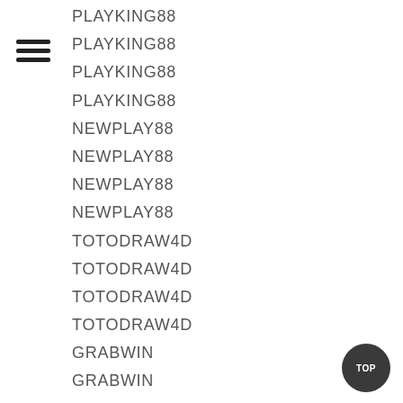PLAYKING88
PLAYKING88
PLAYKING88
PLAYKING88
NEWPLAY88
NEWPLAY88
NEWPLAY88
NEWPLAY88
TOTODRAW4D
TOTODRAW4D
TOTODRAW4D
TOTODRAW4D
GRABWIN
GRABWIN
GRABWIN
GRABWIN
FASTWIN77
FASTWIN77
FASTWIN77